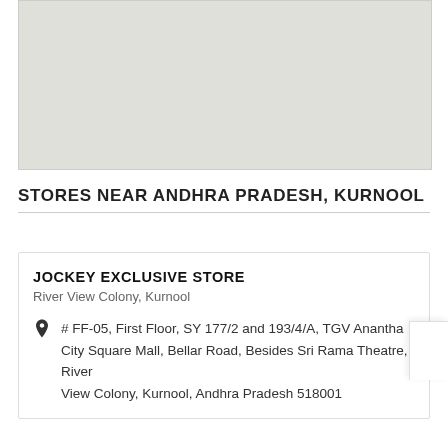[Figure (map): A blank light gray map area placeholder]
STORES NEAR ANDHRA PRADESH, KURNOOL
JOCKEY EXCLUSIVE STORE
River View Colony, Kurnool
# FF-05, First Floor, SY 177/2 and 193/4/A, TGV Anantha City Square Mall, Bellar Road, Besides Sri Rama Theatre, River View Colony, Kurnool, Andhra Pradesh 518001